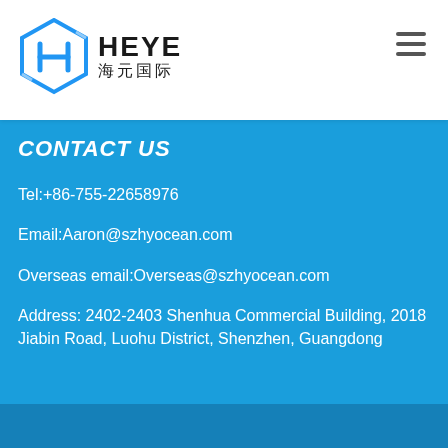[Figure (logo): HEYE 海元国际 company logo with hexagon icon in blue]
CONTACT US
Tel:+86-755-22658976
Email:Aaron@szhyocean.com
Overseas email:Overseas@szhyocean.com
Address: 2402-2403 Shenhua Commercial Building, 2018 Jiabin Road, Luohu District, Shenzhen, Guangdong
© Copyright 2019. All Rights Reserved.